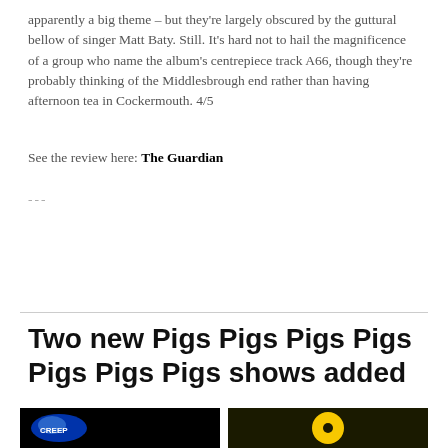apparently a big theme – but they're largely obscured by the guttural bellow of singer Matt Baty. Still. It's hard not to hail the magnificence of a group who name the album's centrepiece track A66, though they're probably thinking of the Middlesbrough end rather than having afternoon tea in Cockermouth. 4/5
See the review here: The Guardian
---
Share
Two new Pigs Pigs Pigs Pigs Pigs Pigs Pigs shows added
[Figure (photo): Two thumbnail images side by side on black/dark backgrounds - left shows a blue circular logo, right shows a yellow circular shape on dark background]